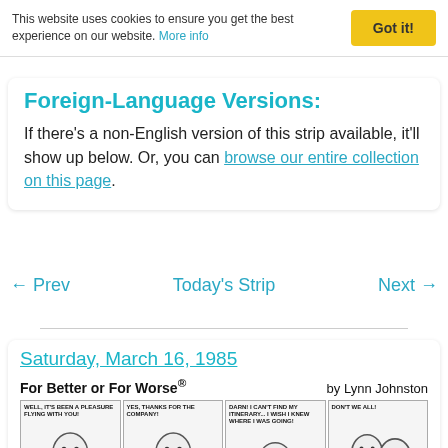This website uses cookies to ensure you get the best experience on our website. More info
Foreign-Language Versions:
If there's a non-English version of this strip available, it'll show up below. Or, you can browse our entire collection on this page.
← Prev   Today's Strip   Next →
Saturday, March 16, 1985
For Better or For Worse®   by Lynn Johnston
[Figure (illustration): Four comic strip panels from 'For Better or For Worse' by Lynn Johnston. Panel 1: character says 'WELL, IT'S BEEN A PLEASURE FLYING WITH YOU!' Panel 2: character says 'YES, THANKS FOR THE COMPANY!' Panel 3: character says 'DARN! I CAN'T FIND MY ITINERARY... I WISH I KNEW WHERE I WAS GOING!' Panel 4: character says 'DON'T WE ALL!']